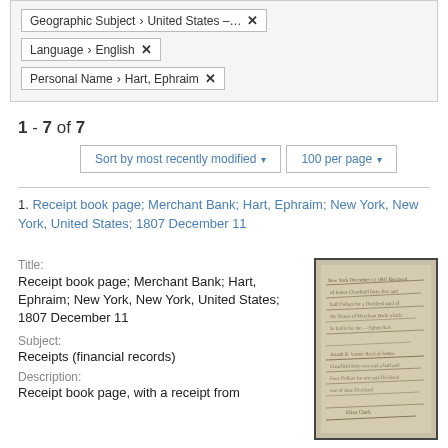Geographic Subject > United States – ...  ✕
Language > English  ✕
Personal Name > Hart, Ephraim  ✕
1 - 7 of 7
Sort by most recently modified ▾   100 per page ▾
1. Receipt book page; Merchant Bank; Hart, Ephraim; New York, New York, United States; 1807 December 11
Title:
Receipt book page; Merchant Bank; Hart, Ephraim; New York, New York, United States; 1807 December 11
Subject:
Receipts (financial records)
Description:
Receipt book page, with a receipt from
[Figure (photo): Thumbnail image of a handwritten receipt book page, historical document with cursive script.]